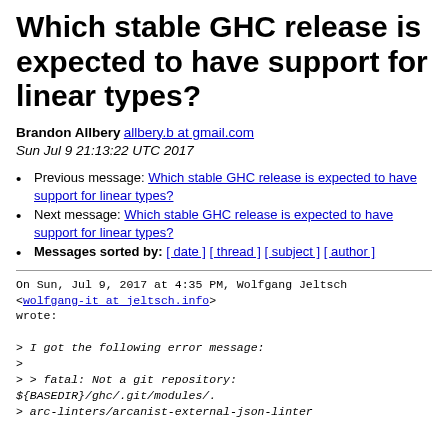Which stable GHC release is expected to have support for linear types?
Brandon Allbery allbery.b at gmail.com
Sun Jul 9 21:13:22 UTC 2017
Previous message: Which stable GHC release is expected to have support for linear types?
Next message: Which stable GHC release is expected to have support for linear types?
Messages sorted by: [ date ] [ thread ] [ subject ] [ author ]
On Sun, Jul 9, 2017 at 4:35 PM, Wolfgang Jeltsch
<wolfgang-it at jeltsch.info>
wrote:

> I got the following error message:
>
> > fatal: Not a git repository:
${BASEDIR}/ghc/.git/modules/.
> arc-linters/arcanist-external-json-linter